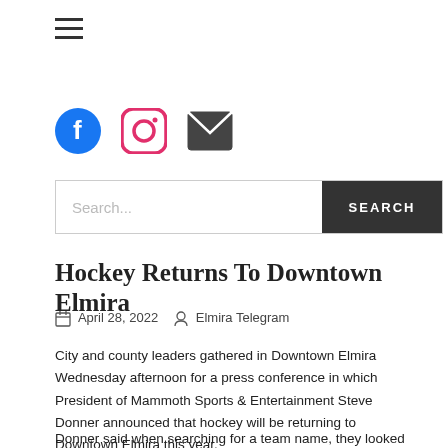[Figure (other): Hamburger menu icon (three horizontal lines)]
[Figure (other): Social media icons: Facebook (blue circle with f), Instagram (pink rounded square camera), Email (dark envelope)]
[Figure (other): Search bar with placeholder text 'Search...' and a dark SEARCH button]
Hockey Returns To Downtown Elmira
April 28, 2022   Elmira Telegram
City and county leaders gathered in Downtown Elmira Wednesday afternoon for a press conference in which President of Mammoth Sports & Entertainment Steve Donner announced that hockey will be returning to Downtown Elmira this year.
Donner said when searching for a team name, they looked